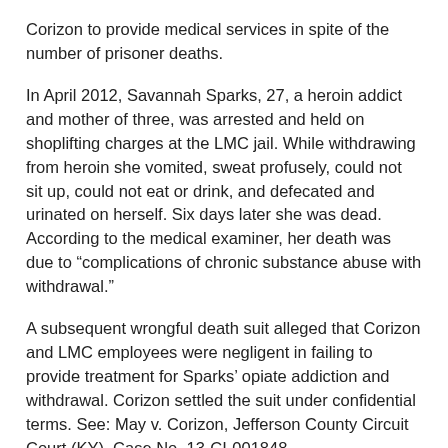Corizon to provide medical services in spite of the number of prisoner deaths.
In April 2012, Savannah Sparks, 27, a heroin addict and mother of three, was arrested and held on shoplifting charges at the LMC jail. While withdrawing from heroin she vomited, sweat profusely, could not sit up, could not eat or drink, and defecated and urinated on herself. Six days later she was dead. According to the medical examiner, her death was due to “complications of chronic substance abuse with withdrawal.”
A subsequent wrongful death suit alleged that Corizon and LMC employees were negligent in failing to provide treatment for Sparks’ opiate addiction and withdrawal. Corizon settled the suit under confidential terms. See: May v. Corizon, Jefferson County Circuit Court (KY), Case No. 13-CI-001848.
Four months after Sparks’ death, on August 8, 2012, another LMC prisoner, Samantha George, died. A lawsuit filed in Jefferson County Circuit Court claimed that George was